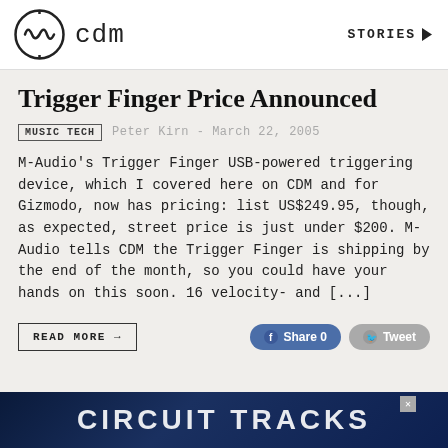cdm  STORIES
Trigger Finger Price Announced
MUSIC TECH   Peter Kirn - March 22, 2005
M-Audio's Trigger Finger USB-powered triggering device, which I covered here on CDM and for Gizmodo, now has pricing: list US$249.95, though, as expected, street price is just under $200. M-Audio tells CDM the Trigger Finger is shipping by the end of the month, so you could have your hands on this soon. 16 velocity- and [...]
READ MORE →
[Figure (infographic): Advertisement banner with dark blue background showing partial text 'CIRCUIT TRACKS' in large white letters]